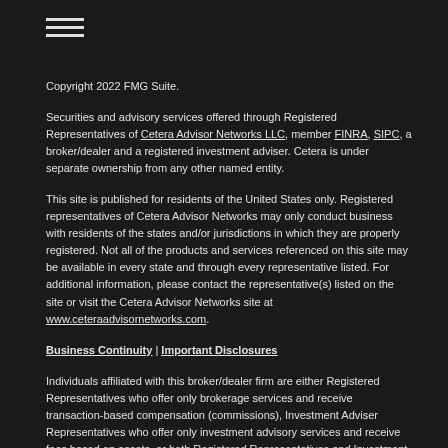[Figure (other): Hamburger menu icon with three horizontal lines]
Copyright 2022 FMG Suite.
Securities and advisory services offered through Registered Representatives of Cetera Advisor Networks LLC, member FINRA, SIPC, a broker/dealer and a registered investment adviser. Cetera is under separate ownership from any other named entity.
This site is published for residents of the United States only. Registered representatives of Cetera Advisor Networks may only conduct business with residents of the states and/or jurisdictions in which they are properly registered. Not all of the products and services referenced on this site may be available in every state and through every representative listed. For additional information, please contact the representative(s) listed on the site or visit the Cetera Advisor Networks site at www.ceteraadvisornetworks.com.
Business Continuity | Important Disclosures
Individuals affiliated with this broker/dealer firm are either Registered Representatives who offer only brokerage services and receive transaction-based compensation (commissions), Investment Adviser Representatives who offer only investment advisory services and receive fees based on assets, or both Registered Representatives and Investment Adviser Representatives, who can offer both types of services.